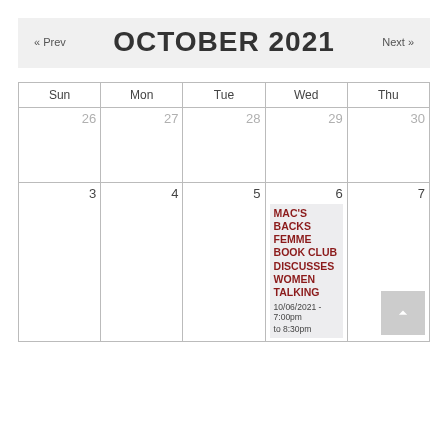OCTOBER 2021
« Prev
Next »
| Sun | Mon | Tue | Wed | Thu |
| --- | --- | --- | --- | --- |
| 26 | 27 | 28 | 29 | 30 |
| 3 | 4 | 5 | 6 — MAC'S BACKS FEMME BOOK CLUB DISCUSSES WOMEN TALKING 10/06/2021 - 7:00pm to 8:30pm | 7 |